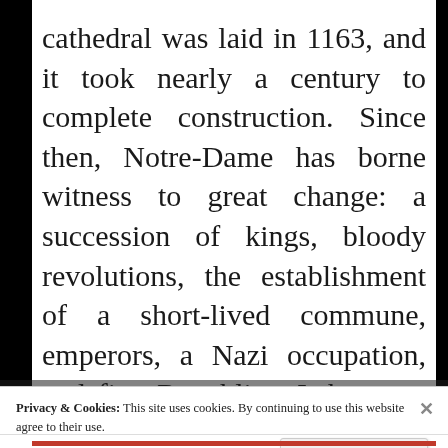cathedral was laid in 1163, and it took nearly a century to complete construction. Since then, Notre-Dame has borne witness to great change: a succession of kings, bloody revolutions, the establishment of a short-lived commune, emperors, a Nazi occupation, and five Republics. It has not, however, stood untouched by time: the statues of
Privacy & Cookies: This site uses cookies. By continuing to use this website, you agree to their use.
To find out more, including how to control cookies, see here: Cookie Policy
Close and accept